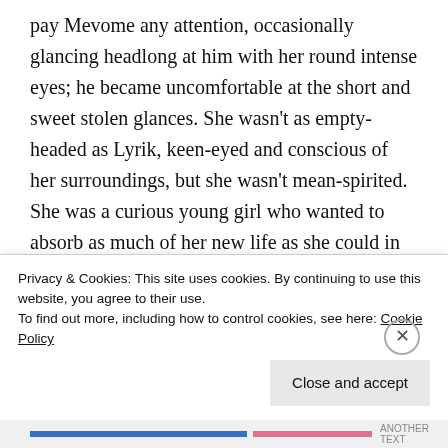pay Mevome any attention, occasionally glancing headlong at him with her round intense eyes; he became uncomfortable at the short and sweet stolen glances. She wasn't as empty-headed as Lyrik, keen-eyed and conscious of her surroundings, but she wasn't mean-spirited. She was a curious young girl who wanted to absorb as much of her new life as she could in one mighty breath. Her eyes darted around the group, greedily digesting each word like a scholar in a library. She had pink hair wrapped into a top-bun,
Privacy & Cookies: This site uses cookies. By continuing to use this website, you agree to their use.
To find out more, including how to control cookies, see here: Cookie Policy
Close and accept